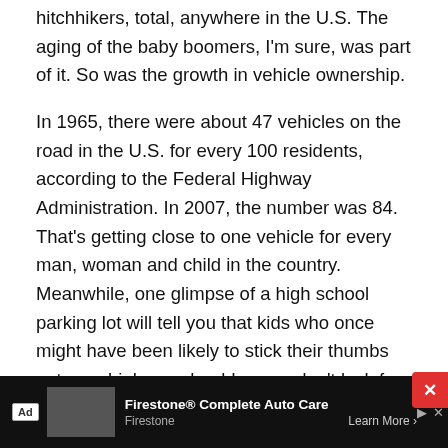hitchhikers, total, anywhere in the U.S. The aging of the baby boomers, I'm sure, was part of it. So was the growth in vehicle ownership.
In 1965, there were about 47 vehicles on the road in the U.S. for every 100 residents, according to the Federal Highway Administration. In 2007, the number was 84. That's getting close to one vehicle for every man, woman and child in the country. Meanwhile, one glimpse of a high school parking lot will tell you that kids who once might have been likely to stick their thumbs out on a highway shoulder now don't lack for personal transportation. And if everybody's got their own wheels (or a cut-rate airline ticket), who's left to
[Figure (other): Advertisement bar at bottom: Firestone Complete Auto Care ad with store image, play icon, and Learn More button. Close (X) button in red on the right.]